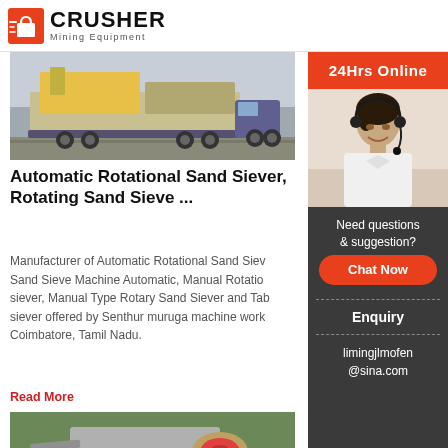[Figure (logo): Crusher Mining Equipment logo with red shopping bag icon and bold CRUSHER text]
[Figure (photo): Heavy mining equipment on flatbed truck trailer on a road]
Automatic Rotational Sand Siever, Rotating Sand Sieve ...
Manufacturer of Automatic Rotational Sand Siever, Rotating Sand Sieve Machine Automatic, Manual Rotational Sand siever, Manual Type Rotary Sand Siever and Table top Sand siever offered by Senthur muruga machine works, Coimbatore, Tamil Nadu.
Read More
[Figure (photo): Industrial jaw crusher or sand sieve machine with motor and flywheel visible]
[Figure (other): Sidebar with 24Hrs Online customer service photo, Need questions & suggestion section with Chat Now button, Enquiry link, and email limingjlmofen@sina.com]